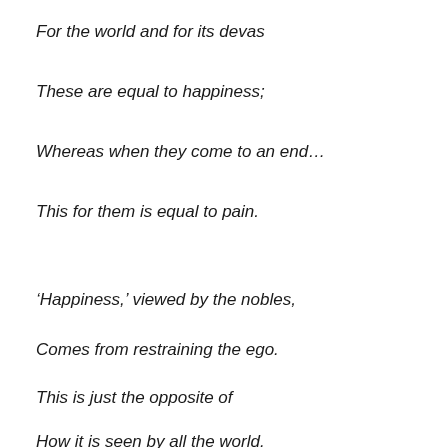For the world and for its devas
These are equal to happiness;
Whereas when they come to an end…
This for them is equal to pain.
‘Happiness,’ viewed by the nobles,
Comes from restraining the ego.
This is just the opposite of
How it is seen by all the world.